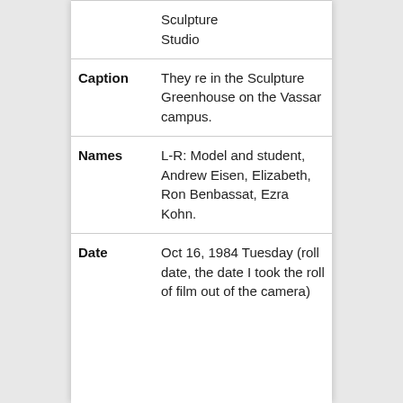| Field | Value |
| --- | --- |
|  | Sculpture Studio |
| Caption | They re in the Sculpture Greenhouse on the Vassar campus. |
| Names | L-R: Model and student, Andrew Eisen, Elizabeth, Ron Benbassat, Ezra Kohn. |
| Date | Oct 16, 1984 Tuesday (roll date, the date I took the roll of film out of the camera) |